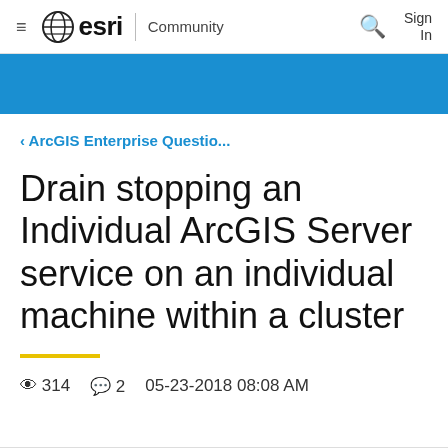esri Community — Sign In
[Figure (illustration): Blue banner header strip]
‹ ArcGIS Enterprise Questio...
Drain stopping an Individual ArcGIS Server service on an individual machine within a cluster
314 views  2 comments  05-23-2018 08:08 AM